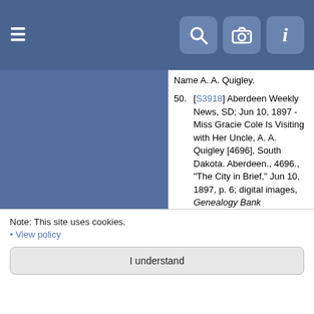Navigation bar with hamburger menu, search, camera, and info icons
Name A. A. Quigley.
50. [S3918] Aberdeen Weekly News, SD; Jun 10, 1897 - Miss Gracie Cole Is Visiting with Her Uncle, A. A. Quigley [4696], South Dakota. Aberdeen., 4696., "The City in Brief," Jun 10, 1897, p. 6; digital images, Genealogy Bank (genbank.com : accessed May 19, 2017). Name A. A. Quigley.
51. [S3919] Aberdeen Daily News, SD; Jan 28, 1898 - A. A. Quigley Visits New Hope from Aberdeen [4697], South Dakota. Aberdeen., 4697., "Mansfield," Jan 28, 1898, p. 3; digital images, Genealogy Bank (genbank.com : accessed May 19, 2017). Name A. A. Quigley.
52. [S1157] Aberdeen Daily News, SD; Sep 1, 1898 - A. A. Quigley & Daughters Visit New Hope from Aberdeen [4698], South Dakota. Aberdeen., 4698., "New Hope," Sep 1, 1898, p. 8; digital images, Genealogy Bank (genbank.com : accessed May 19, 2017).
Note: This site uses cookies.
• View policy
I understand